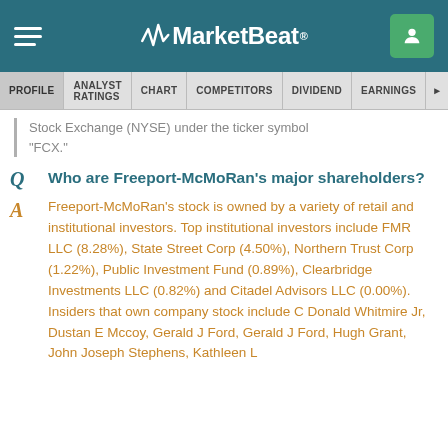MarketBeat
PROFILE  ANALYST RATINGS  CHART  COMPETITORS  DIVIDEND  EARNINGS
Stock Exchange (NYSE) under the ticker symbol "FCX."
Who are Freeport-McMoRan's major shareholders?
Freeport-McMoRan's stock is owned by a variety of retail and institutional investors. Top institutional investors include FMR LLC (8.28%), State Street Corp (4.50%), Northern Trust Corp (1.22%), Public Investment Fund (0.89%), Clearbridge Investments LLC (0.82%) and Citadel Advisors LLC (0.00%). Insiders that own company stock include C Donald Whitmire Jr, Dustan E Mccoy, Gerald J Ford, Gerald J Ford, Hugh Grant, John Joseph Stephens, Kathleen L